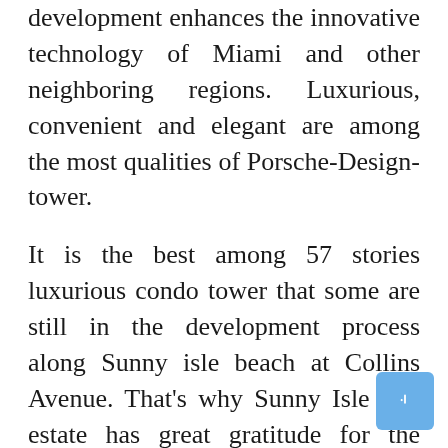development enhances the innovative technology of Miami and other neighboring regions. Luxurious, convenient and elegant are among the most qualities of Porsche-Design-tower.
It is the best among 57 stories luxurious condo tower that some are still in the development process along Sunny isle beach at Collins Avenue. That's why Sunny Isle real estate has great gratitude for the Porsche Design Tower. Don't be surprised when you will find out that a large portion of it has already been bought even though it can cost more than one million dollars.
Benefits of investing with Porsche Condo